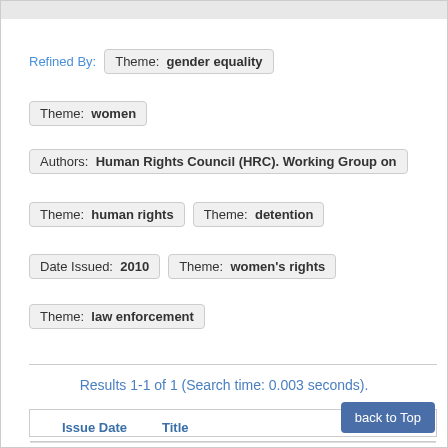Refined By:  Theme: gender equality
Theme: women
Authors: Human Rights Council (HRC). Working Group on
Theme: human rights   Theme: detention
Date Issued: 2010   Theme: women's rights
Theme: law enforcement
Results 1-1 of 1 (Search time: 0.003 seconds).
| Issue Date | Title |
| --- | --- |
| 4-Jan-2010 | Report of the Working Group on the Universal R |
back to Top